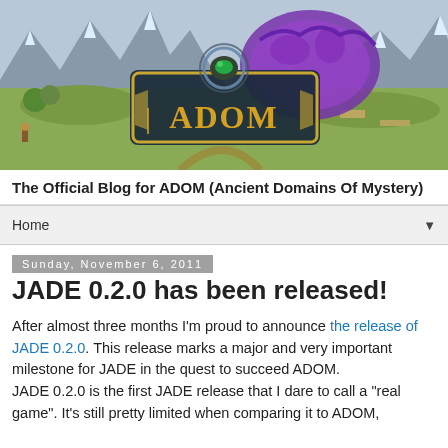[Figure (illustration): ADOM game banner with fantasy landscape background showing mountains, fields, and the ADOM logo in golden letters with a purple dragon/serpent and ornate frame design]
The Official Blog for ADOM (Ancient Domains Of Mystery)
Home
Sunday, November 6, 2011
JADE 0.2.0 has been released!
After almost three months I'm proud to announce the release of JADE 0.2.0. This release marks a major and very important milestone for JADE in the quest to succeed ADOM.
JADE 0.2.0 is the first JADE release that I dare to call a "real game". It's still pretty limited when comparing it to ADOM,